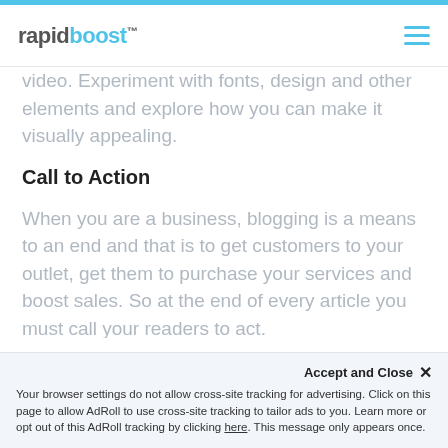rapidboost
video. Experiment with fonts, design and other elements and explore how you can make it visually appealing.
Call to Action
When you are a business, blogging is a means to an end and that is to get customers to your outlet, get them to purchase your services and boost sales. So at the end of every article you must call your readers to act.
The call to action must be reasonable,
Accept and Close ✕
Your browser settings do not allow cross-site tracking for advertising. Click on this page to allow AdRoll to use cross-site tracking to tailor ads to you. Learn more or opt out of this AdRoll tracking by clicking here. This message only appears once.